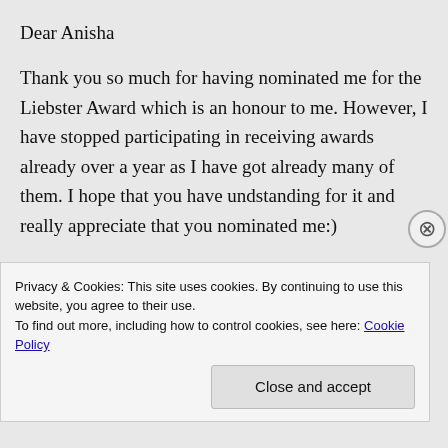Dear Anisha
Thank you so much for having nominated me for the Liebster Award which is an honour to me. However, I have stopped participating in receiving awards already over a year as I have got already many of them. I hope that you have undstanding for it and really appreciate that you nominated me:)
All the best my friend and have a great
Privacy & Cookies: This site uses cookies. By continuing to use this website, you agree to their use.
To find out more, including how to control cookies, see here: Cookie Policy
Close and accept